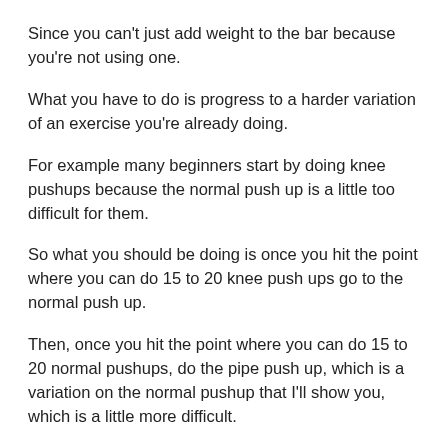Since you can't just add weight to the bar because you're not using one.
What you have to do is progress to a harder variation of an exercise you're already doing.
For example many beginners start by doing knee pushups because the normal push up is a little too difficult for them.
So what you should be doing is once you hit the point where you can do 15 to 20 knee push ups go to the normal push up.
Then, once you hit the point where you can do 15 to 20 normal pushups, do the pipe push up, which is a variation on the normal pushup that I'll show you, which is a little more difficult.
There are variations for pretty much every exercise